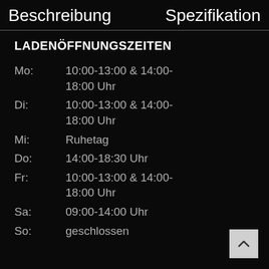Beschreibung    Spezifikation
LADENÖFFNUNGSZEITEN
| Tag | Zeit |
| --- | --- |
| Mo: | 10:00-13:00 & 14:00-18:00 Uhr |
| Di: | 10:00-13:00 & 14:00-18:00 Uhr |
| Mi: | Ruhetag |
| Do: | 14:00-18:30 Uhr |
| Fr: | 10:00-13:00 & 14:00-18:00 Uhr |
| Sa: | 09:00-14:00 Uhr |
| So: | geschlossen |